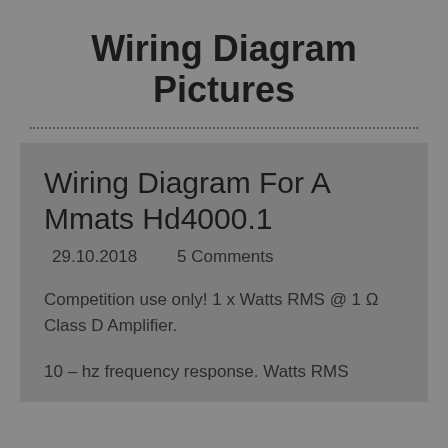Wiring Diagram Pictures
Wiring Diagram For A Mmats Hd4000.1
29.10.2018     5 Comments
Competition use only! 1 x Watts RMS @ 1 Ω Class D Amplifier.
10 – hz frequency response. Watts RMS